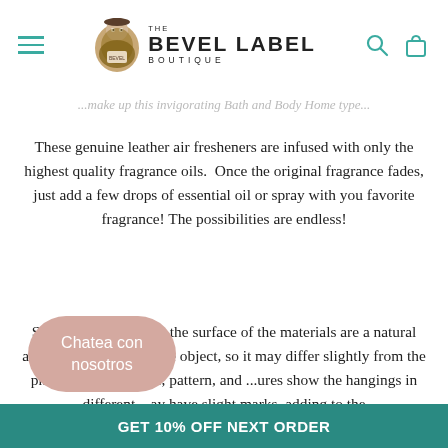[Figure (logo): The Bevel Label Boutique logo with illustrated character and text]
...make up this invigorating Bath and Body Home type...
These genuine leather air fresheners are infused with only the highest quality fragrance oils.  Once the original fragrance fades, just add a few drops of essential oil or spray with you favorite fragrance! The possibilities are endless!
Small irregularities in the surface of the materials are a natural and unique feature of the object, so it may differ slightly from the photographs in shape, pattern, and ...ures show the hangings in different ...ay have slight marks, adding to the
Chatea con nosotros
GET 10% OFF NEXT ORDER